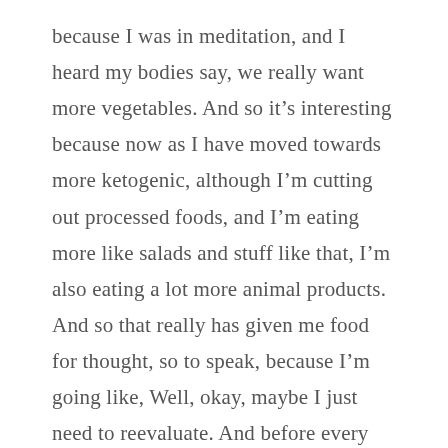because I was in meditation, and I heard my bodies say, we really want more vegetables. And so it's interesting because now as I have moved towards more ketogenic, although I'm cutting out processed foods, and I'm eating more like salads and stuff like that, I'm also eating a lot more animal products. And so that really has given me food for thought, so to speak, because I'm going like, Well, okay, maybe I just need to reevaluate. And before every meal muscle test, and just really see like it use my intuition to determine what it is my body really wants. Yeah, absolutely. That's really a great way to